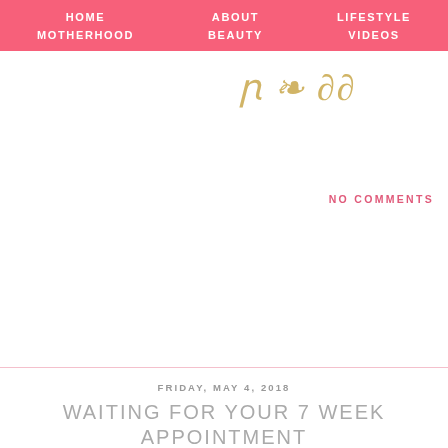HOME   ABOUT   LIFESTYLE   MOTHERHOOD   BEAUTY   VIDEOS
[Figure (logo): Decorative gold script logo/text on right side of header area]
NO COMMENTS
FRIDAY, MAY 4, 2018
WAITING FOR YOUR 7 WEEK APPOINTMENT
[Figure (photo): Dark photo showing two people in a car, partially visible]